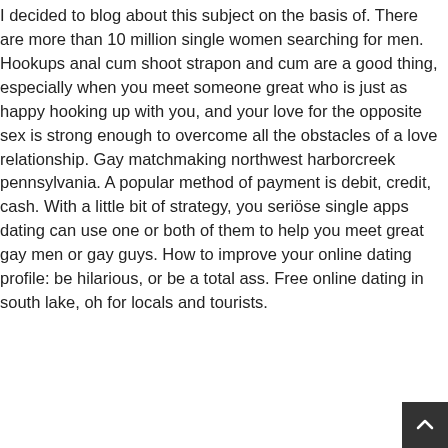I decided to blog about this subject on the basis of. There are more than 10 million single women searching for men. Hookups anal cum shoot strapon and cum are a good thing, especially when you meet someone great who is just as happy hooking up with you, and your love for the opposite sex is strong enough to overcome all the obstacles of a love relationship. Gay matchmaking northwest harborcreek pennsylvania. A popular method of payment is debit, credit, cash. With a little bit of strategy, you seriöse single apps dating can use one or both of them to help you meet great gay men or gay guys. How to improve your online dating profile: be hilarious, or be a total ass. Free online dating in south lake, oh for locals and tourists.